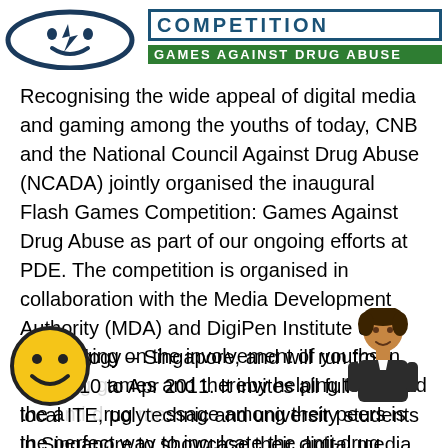[Figure (logo): Flash Games Competition logo: circular emblem on left with dark navy border and face graphic; text on right reading COMPETITION in navy bordered box and GAMES AGAINST DRUG ABUSE in white text on green background]
Recognising the wide appeal of digital media and gaming among the youths of today, CNB and the National Council Against Drug Abuse (NCADA) jointly organised the inaugural Flash Games Competition: Games Against Drug Abuse as part of our ongoing efforts at PDE. The competition is organised in collaboration with the Media Development Authority (MDA) and DigiPen Institute of Technology – Singapore, and will run from Oct 2010 to Apr 2011. It invites all full-time local ITE, polytechnic and university students in Singapore to showcase their digital media talent by helping to create an anti-drug flash-based game targeted at youths aged 25 years and below
Leveraging on the involvement of youths in creating games and thereby helping to spread the anti-drug message among their peers is the perfect way to inculcate the anti-drug message into impressionable
[Figure (illustration): Yellow smiley face emoji circle in bottom-left corner]
[Figure (illustration): Cartoon illustration of a person (student/youth figure) in bottom-right area]